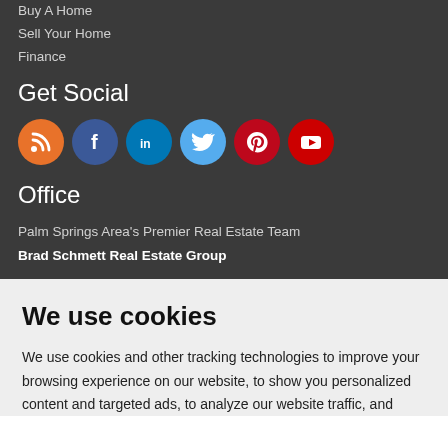Buy A Home
Sell Your Home
Finance
Get Social
[Figure (other): Row of social media icon circles: RSS (orange), Facebook (dark blue), LinkedIn (blue), Twitter (light blue), Pinterest (dark red), YouTube (red)]
Office
Palm Springs Area's Premier Real Estate Team
Brad Schmett Real Estate Group
We use cookies
We use cookies and other tracking technologies to improve your browsing experience on our website, to show you personalized content and targeted ads, to analyze our website traffic, and